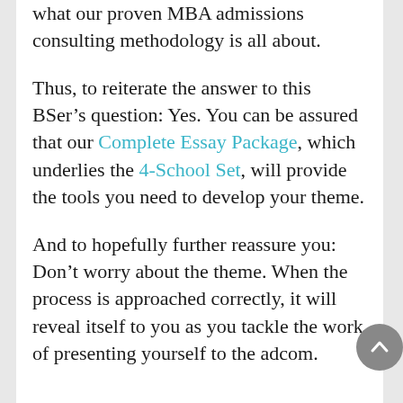what our proven MBA admissions consulting methodology is all about.
Thus, to reiterate the answer to this BSer’s question: Yes. You can be assured that our Complete Essay Package, which underlies the 4-School Set, will provide the tools you need to develop your theme.
And to hopefully further reassure you: Don’t worry about the theme. When the process is approached correctly, it will reveal itself to you as you tackle the work of presenting yourself to the adcom.